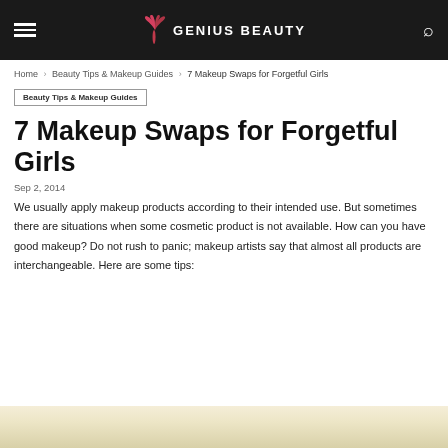GENIUS BEAUTY
Home › Beauty Tips & Makeup Guides › 7 Makeup Swaps for Forgetful Girls
Beauty Tips & Makeup Guides
7 Makeup Swaps for Forgetful Girls
Sep 2, 2014
We usually apply makeup products according to their intended use. But sometimes there are situations when some cosmetic product is not available. How can you have good makeup? Do not rush to panic; makeup artists say that almost all products are interchangeable. Here are some tips:
[Figure (photo): Bottom of a flower or cream-colored cosmetic product, partially visible at the bottom of the page]